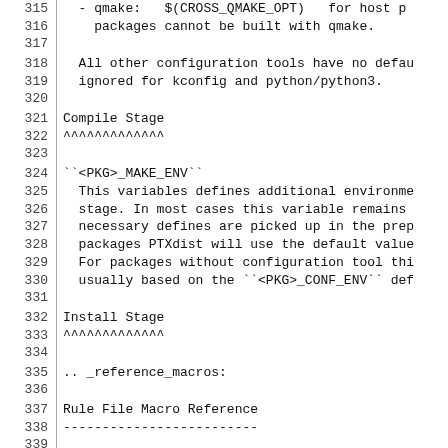315    - qmake:   $(CROSS_QMAKE_OPT)   for host p
316      packages cannot be built with qmake.
317
318    All other configuration tools have no defau
319    ignored for kconfig and python/python3.
320
321  Compile Stage
322  ^^^^^^^^^^^^^
323
324  ``<PKG>_MAKE_ENV``
325    This variables defines additional environme
326    stage. In most cases this variable remains
327    necessary defines are picked up in the prep
328    packages PTXdist will use the default value
329    For packages without configuration tool thi
330    usually based on the ``<PKG>_CONF_ENV`` def
331
332  Install Stage
333  ^^^^^^^^^^^^^
334
335  .. _reference_macros:
336
337  Rule File Macro Reference
338  -------------------------
339
340  Rules files in PTXdist are using macros to ge
341  recommended to use these macros instead of do
342  macros is portable and such easier to maintai
343  upgraded to a more recent PTXdist version.
344